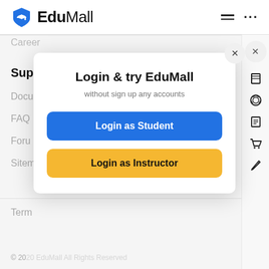EduMall
Career
Support
Docu
FAQ
Foru
Sitem
© 2020 EduMall All Rights Reserved
[Figure (screenshot): Modal dialog box on EduMall website with title 'Login & try EduMall', subtitle 'without sign up any accounts', a blue 'Login as Student' button and a yellow 'Login as Instructor' button, with a close X button in top right corner]